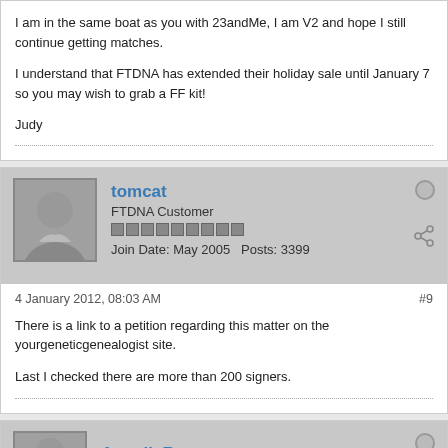I am in the same boat as you with 23andMe, I am V2 and hope I still continue getting matches.

I understand that FTDNA has extended their holiday sale until January 7 so you may wish to grab a FF kit!

Judy
tomcat
FTDNA Customer
Join Date: May 2005   Posts: 3399
4 January 2012, 08:03 AM
#9

There is a link to a petition regarding this matter on the yourgeneticgenealogist site.

Last I checked there are more than 200 signers.
AngeliaR